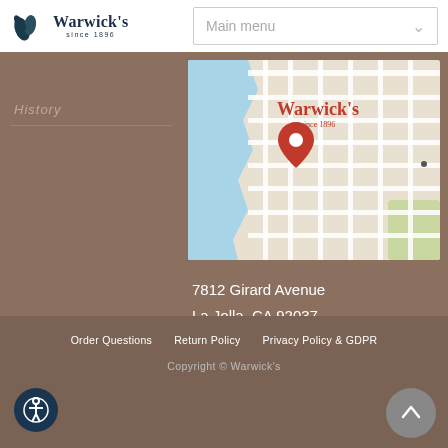[Figure (logo): Warwick's bookstore logo with leaf/feather icon and text 'Warwick's since 1896']
Main menu
History
[Figure (map): Google Maps screenshot showing location of Warwick's bookstore in La Jolla, CA with red pin marker and Warwick's logo overlay]
7812 Girard Avenue
La Jolla, CA 92037
Order Questions   Return Policy   Privacy Policy & GDPR
Copyright © Warwick's